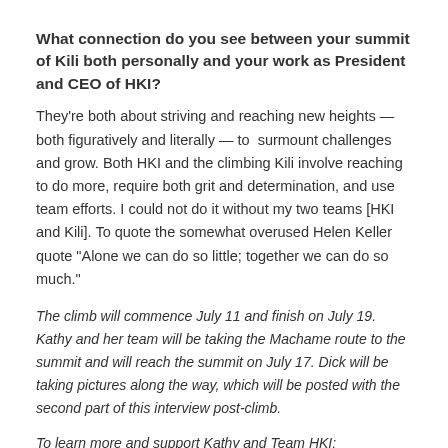What connection do you see between your summit of Kili both personally and your work as President and CEO of HKI?
They're both about striving and reaching new heights — both figuratively and literally — to surmount challenges and grow. Both HKI and the climbing Kili involve reaching to do more, require both grit and determination, and use team efforts. I could not do it without my two teams [HKI and Kili]. To quote the somewhat overused Helen Keller quote "Alone we can do so little; together we can do so much."
The climb will commence July 11 and finish on July 19. Kathy and her team will be taking the Machame route to the summit and will reach the summit on July 17. Dick will be taking pictures along the way, which will be posted with the second part of this interview post-climb.
To learn more and support Kathy and Team HKI: